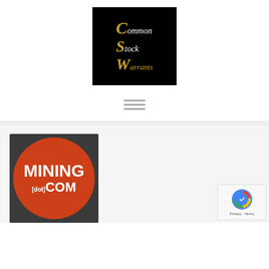[Figure (logo): Common Stock Warrants logo — black square with gold and white italic serif text: large gold C, white 'ommon', large gold S, white 'tock', large gold W, gold 'arrants']
[Figure (other): Hamburger menu icon — three horizontal gray lines]
[Figure (logo): Mining.com logo — dark background with large red-orange circle containing bold white text 'MINING' on top line and '[dot]COM' on bottom line]
[Figure (other): Google reCAPTCHA widget — shows reCAPTCHA logo with 'Privacy - Terms' text below]